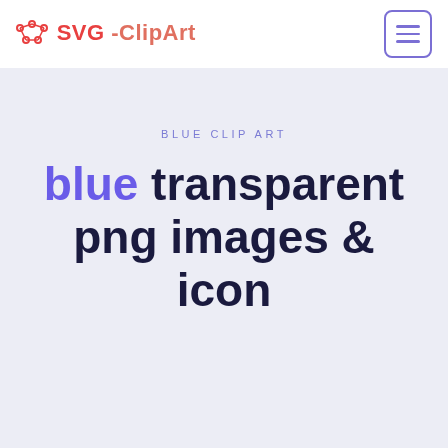SVG-ClipArt
BLUE CLIP ART
blue transparent png images & icon